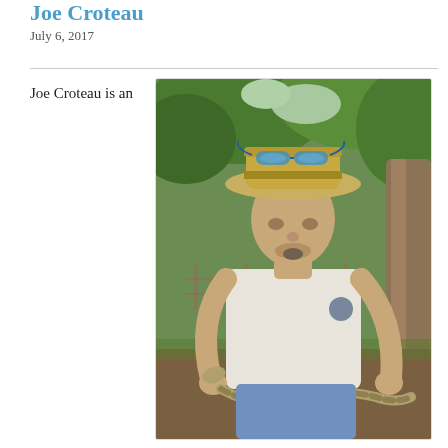Joe Croteau
July 6, 2017
Joe Croteau is an
[Figure (photo): Man wearing a wide-brim hat with blue goggles on top, white t-shirt, holding a large snake in an outdoor wooded/field setting.]